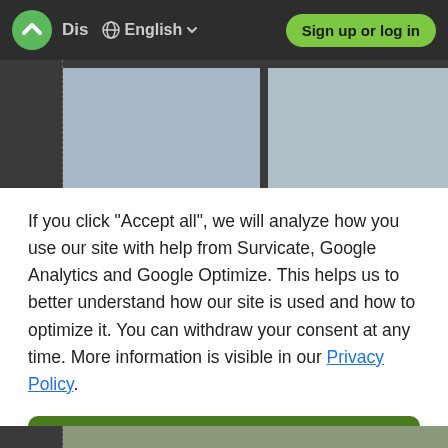Dis  English  Sign up or log in
[Figure (screenshot): Two photo thumbnails side by side, partially visible behind a cookie consent modal overlay]
If you click "Accept all", we will analyze how you use our site with help from Survicate, Google Analytics and Google Optimize. This helps us to better understand how our site is used and how to optimize it. You can withdraw your consent at any time. More information is visible in our Privacy Policy.
Accept All
Decline
Details